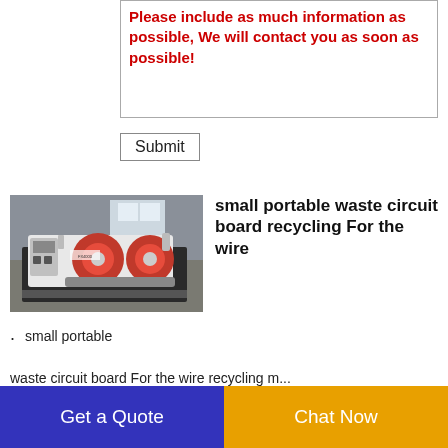Please include as much information as possible, We will contact you as soon as possible!
Submit
[Figure (photo): Industrial waste circuit board recycling machine, white and red colored, in a warehouse/factory setting]
small portable waste circuit board recycling For the wire
small portable
... waste circuit board For the wire recycling ...
Get a Quote
Chat Now